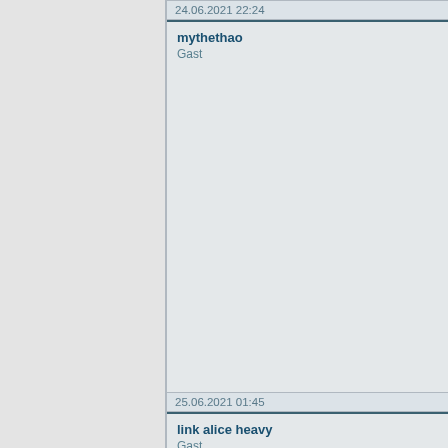24.06.2021 22:24
mythethao
Gast
25.06.2021 01:45
link alice heavy
Gast
25.06.2021 04:54
mu vs psg
Gast